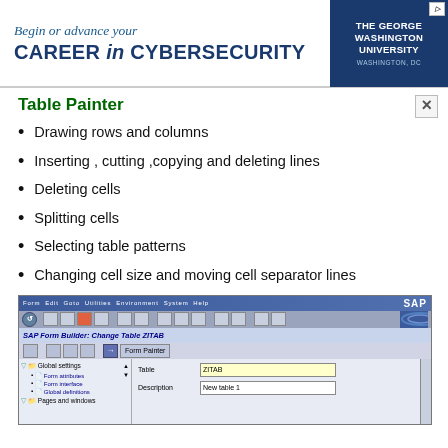[Figure (screenshot): Banner advertisement for The George Washington University Cybersecurity program: 'Begin or advance your CAREER in CYBERSECURITY']
Table Painter
Drawing rows and columns
Inserting , cutting ,copying and deleting lines
Deleting cells
Splitting cells
Selecting table patterns
Changing cell size and moving cell separator lines
[Figure (screenshot): SAP Form Builder: Change Table ZITAB window showing form structure tree with Global settings, Form attributes, Form interface, Global definitions, Pages and windows nodes, and form fields Table: ZITAB, Description: New table 1]